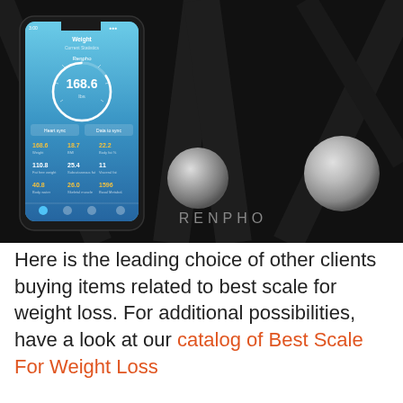[Figure (photo): Product photo showing a RENPHO black smart body scale with a smartphone displaying the RENPHO app. The app screen shows a weight reading of 168.6 lbs with a circular gauge and body metrics data. The scale is black with silver metallic sensor pads and the RENPHO logo in the center.]
Here is the leading choice of other clients buying items related to best scale for weight loss. For additional possibilities, have a look at our catalog of Best Scale For Weight Loss